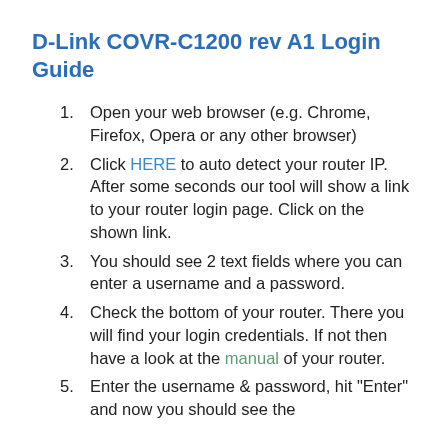D-Link COVR-C1200 rev A1 Login Guide
Open your web browser (e.g. Chrome, Firefox, Opera or any other browser)
Click HERE to auto detect your router IP. After some seconds our tool will show a link to your router login page. Click on the shown link.
You should see 2 text fields where you can enter a username and a password.
Check the bottom of your router. There you will find your login credentials. If not then have a look at the manual of your router.
Enter the username & password, hit "Enter" and now you should see the